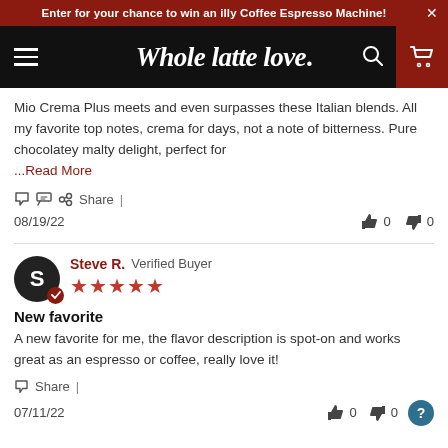Enter for your chance to win an illy Coffee Espresso Machine!
[Figure (logo): Whole latte love. website navigation header with hamburger menu, logo, search icon, and cart icon]
Mio Crema Plus meets and even surpasses these Italian blends. All my favorite top notes, crema for days, not a note of bitterness. Pure chocolatey malty delight, perfect for ...Read More
Share |
08/19/22  👍 0  👎 0
Steve R. Verified Buyer ★★★★★
New favorite
A new favorite for me, the flavor description is spot-on and works great as an espresso or coffee, really love it!
Share |
07/11/22  👍 0  👎 0